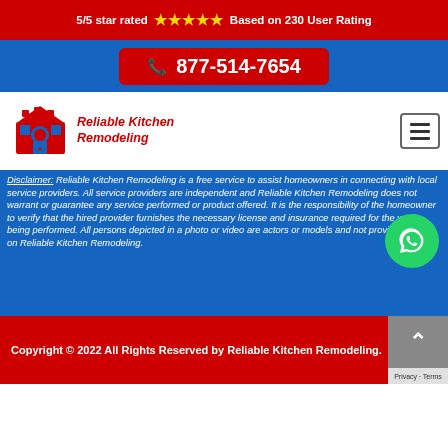5/5 star rated ★★★★★ Based on 230 User Rating
📞 877-514-7654
[Figure (logo): Reliable Kitchen Remodeling logo with kitchen illustration in red]
Disclaimer: Reliable Kitchen Remodeling is a free service to assist homeowners in connecting with local service providers. All service providers are independent and Reliable Kitchen Remodeling does not warrant or guarantee any service performed or product offered. It is the responsibility of the homeowner to verify that the hired provider furnishes the necessary license and insurance required for the work being performed. All persons depicted in a photo or video are actors or models and not providers listed on Reliable Kitchen Remodeling.
Copyright © 2022 All Rights Reserved by Reliable Kitchen Remodeling.